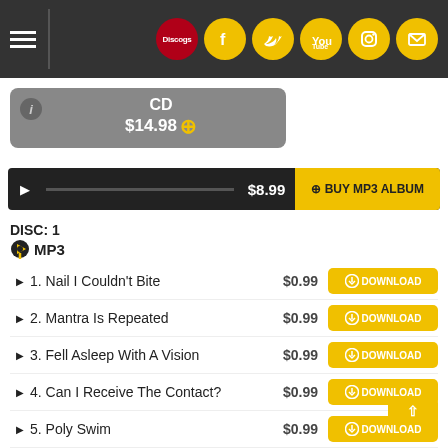Navigation bar with Discogs, Facebook, Twitter, YouTube, Instagram, Email icons
CD $14.98
$8.99  BUY MP3 ALBUM
DISC: 1
MP3
1. Nail I Couldn't Bite  $0.99  DOWNLOAD
2. Mantra Is Repeated  $0.99  DOWNLOAD
3. Fell Asleep With A Vision  $0.99  DOWNLOAD
4. Can I Receive The Contact?  $0.99  DOWNLOAD
5. Poly Swim  $0.99  DOWNLOAD